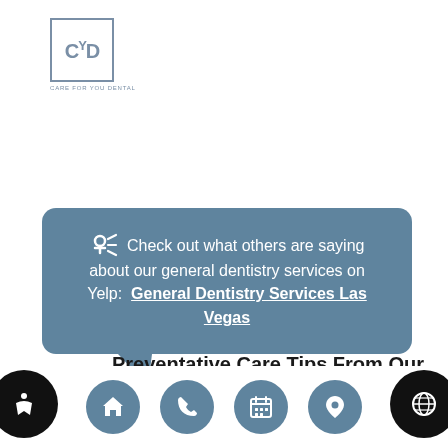[Figure (logo): Care For You Dental logo with stylized 'CYD' letters in a square border]
Check out what others are saying about our general dentistry services on Yelp: General Dentistry Services Las Vegas
Preventative Care Tips From Our General Dentistry Office
[Figure (infographic): Bottom navigation bar with four teal circular icon buttons: home, phone, calendar, and location pin. Two black circular buttons on the sides with accessibility and globe icons.]